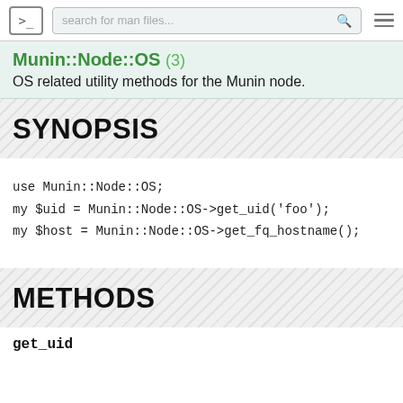>_ search for man files... ≡
Munin::Node::OS (3)
OS related utility methods for the Munin node.
SYNOPSIS
use Munin::Node::OS;
my $uid = Munin::Node::OS->get_uid('foo');
my $host = Munin::Node::OS->get_fq_hostname();
METHODS
get_uid